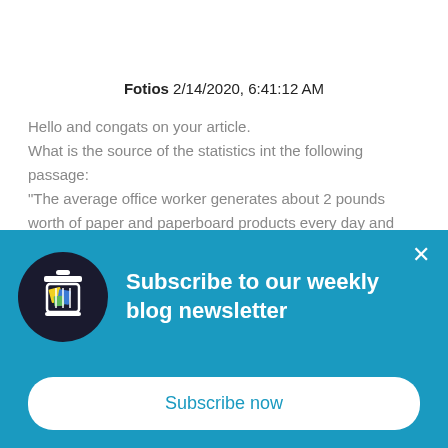Fotios 2/14/2020, 6:41:12 AM
Hello and congats on your article. What is the source of the statistics int the following passage: "The average office worker generates about 2 pounds worth of paper and paperboard products every day and uses 10,000 sheets of paper per year! Between print
[Figure (infographic): Blue popup banner: Subscribe to our weekly blog newsletter, with a trash/recycle bin icon in a dark circle, a close (x) button, and a 'Subscribe now' white rounded button.]